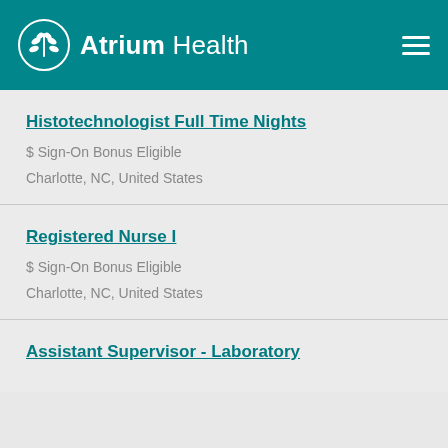Atrium Health
Histotechnologist Full Time Nights
$ Sign-On Bonus Eligible
Charlotte, NC, United States
Registered Nurse I
$ Sign-On Bonus Eligible
Charlotte, NC, United States
Assistant Supervisor - Laboratory